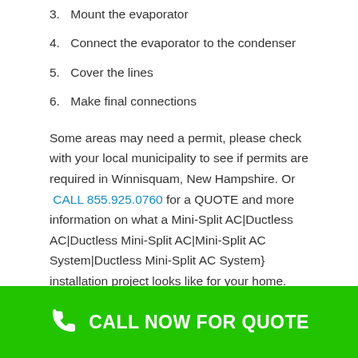3. Mount the evaporator
4. Connect the evaporator to the condenser
5. Cover the lines
6. Make final connections
Some areas may need a permit, please check with your local municipality to see if permits are required in Winnisquam, New Hampshire. Or CALL 855.925.0760 for a QUOTE and more information on what a Mini-Split AC|Ductless AC|Ductless Mini-Split AC|Mini-Split AC System|Ductless Mini-Split AC System} installation project looks like for your home.
How Does The Average
CALL NOW FOR QUOTE